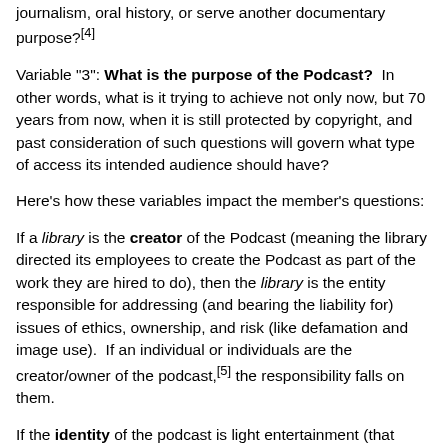journalism, oral history, or serve another documentary purpose?[4]
Variable "3": What is the purpose of the Podcast? In other words, what is it trying to achieve not only now, but 70 years from now, when it is still protected by copyright, and past consideration of such questions will govern what type of access its intended audience should have?
Here's how these variables impact the member's questions:
If a library is the creator of the Podcast (meaning the library directed its employees to create the Podcast as part of the work they are hired to do), then the library is the entity responsible for addressing (and bearing the liability for) issues of ethics, ownership, and risk (like defamation and image use). If an individual or individuals are the creator/owner of the podcast,[5] the responsibility falls on them.
If the identity of the podcast is light entertainment (that theme song!), then the creator does not have to worry about abiding by, or benefiting from, professional codes of ethics and law pertaining to journalism, academic